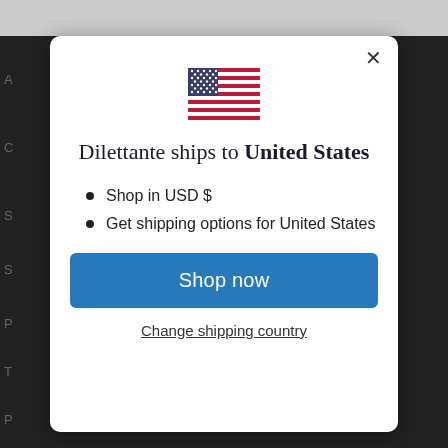[Figure (screenshot): US flag icon shown at top center of modal dialog]
Dilettante ships to United States
Shop in USD $
Get shipping options for United States
Shop now
Change shipping country